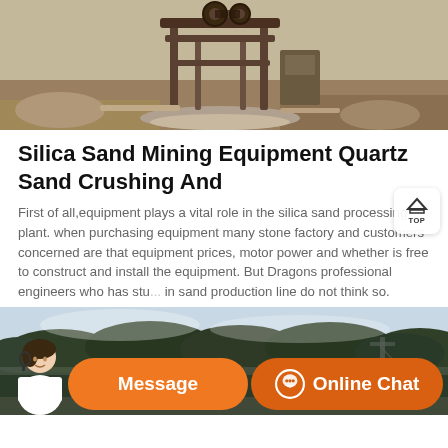[Figure (photo): Outdoor photo of silica sand mining/crushing equipment — a large metal machine frame on sandy/rocky ground]
Silica Sand Mining Equipment Quartz Sand Crushing And
First of all,equipment plays a vital role in the silica sand processing plant. when purchasing equipment many stone factory and customers concerned are that equipment prices, motor power and whether is free to construct and install the equipment. But Dragons professional engineers who has stu... in sand production line do not think so.
[Figure (photo): Outdoor photo showing a forested hillside landscape, likely near a mining or production site]
[Figure (infographic): Orange chat/support bar at the bottom with a customer service representative, Message button and Online Chat button]